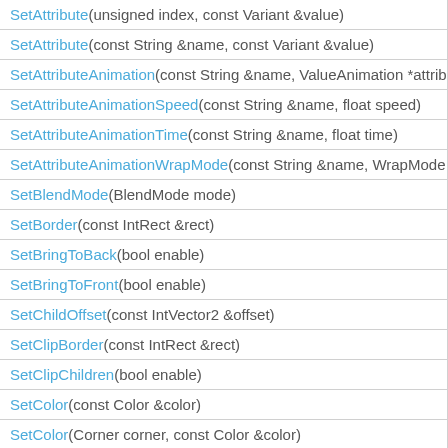| SetAttribute(unsigned index, const Variant &value) |
| SetAttribute(const String &name, const Variant &value) |
| SetAttributeAnimation(const String &name, ValueAnimation *attrib |
| SetAttributeAnimationSpeed(const String &name, float speed) |
| SetAttributeAnimationTime(const String &name, float time) |
| SetAttributeAnimationWrapMode(const String &name, WrapMode |
| SetBlendMode(BlendMode mode) |
| SetBorder(const IntRect &rect) |
| SetBringToBack(bool enable) |
| SetBringToFront(bool enable) |
| SetChildOffset(const IntVector2 &offset) |
| SetClipBorder(const IntRect &rect) |
| SetClipChildren(bool enable) |
| SetColor(const Color &color) |
| SetColor(Corner corner, const Color &color) |
| SetDeepEnabled(bool enable) |
| SetDefaultStyle(XMLFile *style) |
| SetDragDropMode(unsigned mode) |
| SetEditable(bool enable) |
| SetElementEventSender(bool flag) |
| SetEnableAnchor(bool enable) |
| SetEnabled(bool enable) |